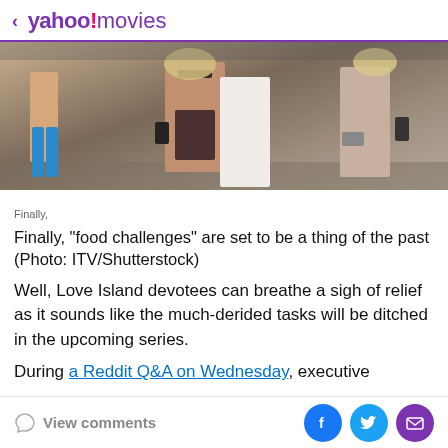< yahoo!movies
[Figure (photo): People in swimwear and exercise clothing running or moving outdoors, shot from behind/side, fitness armbands visible]
Finally,
Finally, "food challenges" are set to be a thing of the past (Photo: ITV/Shutterstock)
Well, Love Island devotees can breathe a sigh of relief as it sounds like the much-derided tasks will be ditched in the upcoming series.
During a Reddit Q&A on Wednesday, executive producer
View comments